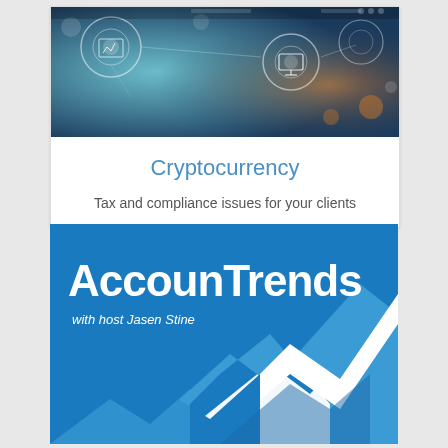[Figure (photo): Technology/digital network concept image with glowing circles and data visualization overlays in blue and teal tones]
Cryptocurrency
Tax and compliance issues for your clients
[Figure (illustration): AccounTrends podcast logo: blue background with large white bold text 'AccounTrends', subtitle 'with host Jasen Stine', and a stylized upward trending arrow graphic in white and lighter blue]